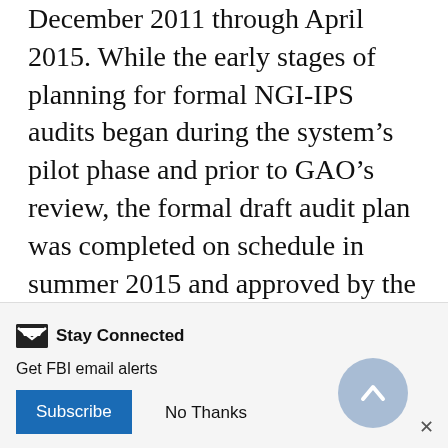December 2011 through April 2015. While the early stages of planning for formal NGI-IPS audits began during the system's pilot phase and prior to GAO's review, the formal draft audit plan was completed on schedule in summer 2015 and approved by the CJIS APB in June 2016.
The FBI worked with the APB and agreed upon an audit schedule that includes use of the NGI-IPS, although the number of actual NGI-IPS participants is currently limited. The FBI CJIS Division's CJIS Audit Unit (CAU) currently executes the formal audits to assess compliance with requirements primarily derived from the NGI-IPS Policy and
Stay Connected
Get FBI email alerts
Subscribe   No Thanks